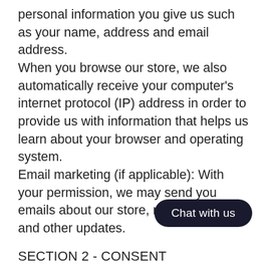personal information you give us such as your name, address and email address.
When you browse our store, we also automatically receive your computer's internet protocol (IP) address in order to provide us with information that helps us learn about your browser and operating system.
Email marketing (if applicable): With your permission, we may send you emails about our store, new products and other updates.
SECTION 2 - CONSENT
How do you get my consent?
When you provide us with personal information to complete a transaction, verify your credit card, place an order, arrange for a delivery or return a purchase, we imply that you consent to our collecting it and using it for that specific reason only.